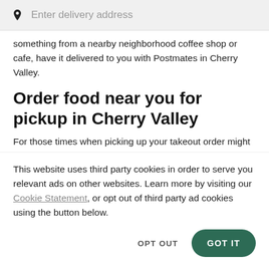[Figure (other): Search bar with location pin icon and placeholder text 'Enter delivery address']
something from a nearby neighborhood coffee shop or cafe, have it delivered to you with Postmates in Cherry Valley.
Order food near you for pickup in Cherry Valley
For those times when picking up your takeout order might be preferred, whether you're out and about and decide to
This website uses third party cookies in order to serve you relevant ads on other websites. Learn more by visiting our Cookie Statement, or opt out of third party ad cookies using the button below.
OPT OUT   GOT IT